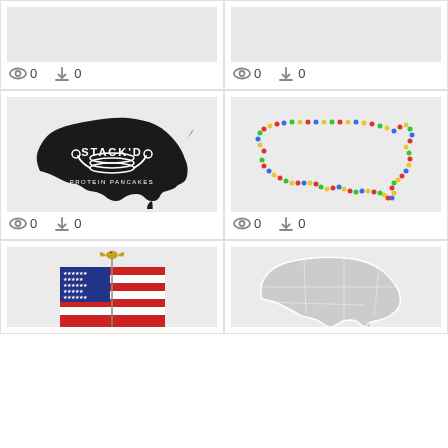[Figure (screenshot): Top-left card: gray placeholder image (cropped top)]
0  0
[Figure (screenshot): Top-right card: gray placeholder image (cropped top)]
0  0
[Figure (illustration): Middle-left card: Black silhouette of USA map with STACK'D PROTEIN PANCAKES logo in white]
0  0
[Figure (map): Middle-right card: Outline of USA map made of colorful dots/beads in red, blue, yellow, green]
0  0
[Figure (photo): Bottom-left card: American flag with gold eagle on top]
[Figure (map): Bottom-right card: Light gray USA map with state boundaries]